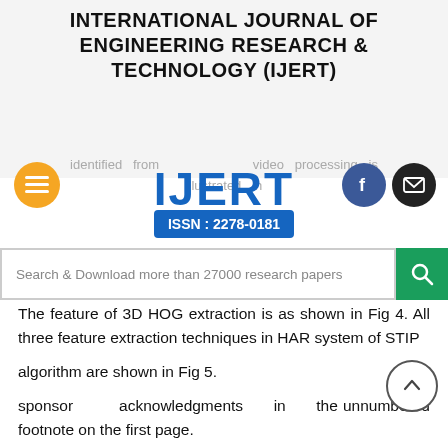INTERNATIONAL JOURNAL OF ENGINEERING RESEARCH & TECHNOLOGY (IJERT)
[Figure (logo): IJERT logo with text IJERT and ISSN: 2278-0181 in blue, with hamburger menu button, Facebook button, and mail button]
[Figure (other): Search bar with text: Search & Download more than 27000 research papers and a green search button]
The feature of 3D HOG extraction is as shown in Fig 4. All three feature extraction techniques in HAR system of STIP algorithm are shown in Fig 5.
sponsor acknowledgments in the unnumbered footnote on the first page.
Fig.5. Illustration of performance